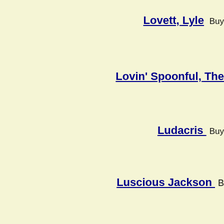Lovett, Lyle  Buy
Lovin' Spoonful, The
Ludacris  Buy
Luscious Jackson  Buy
Lynn, Loretta  Buy
Lynott, Phil  Buy
Lynyrd Skynyrd  Buy
Macias, Enrico  Buy
Madness  Buy
Madonna  Buy